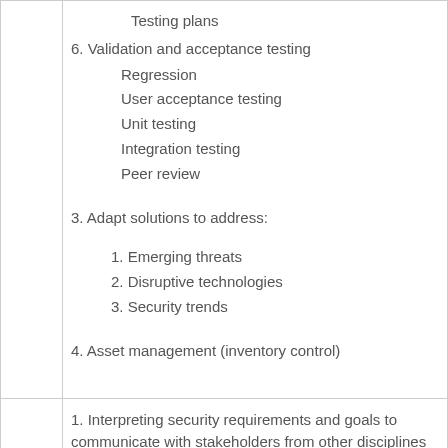Testing plans
6. Validation and acceptance testing
Regression
User acceptance testing
Unit testing
Integration testing
Peer review
3. Adapt solutions to address:
1. Emerging threats
2. Disruptive technologies
3. Security trends
4. Asset management (inventory control)
1. Interpreting security requirements and goals to communicate with stakeholders from other disciplines
1. Sales staff
2. Programmer
3. Database administrator